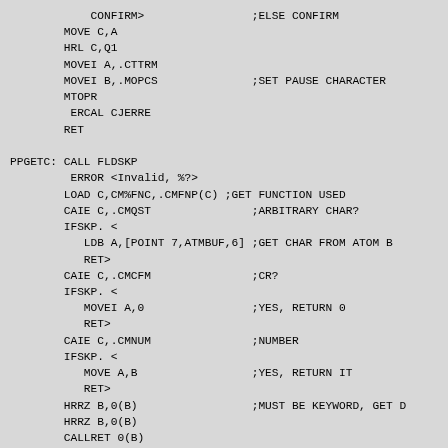CONFIRM>                ;ELSE CONFIRM
        MOVE C,A
        HRL C,Q1
        MOVEI A,.CTTRM
        MOVEI B,.MOPCS              ;SET PAUSE CHARACTER
        MTOPR
         ERCAL CJERRE
        RET

PPGETC: CALL FLDSKP
         ERROR <Invalid, %?>
        LOAD C,CM%FNC,.CMFNP(C) ;GET FUNCTION USED
        CAIE C,.CMQST               ;ARBITRARY CHAR?
        IFSKP. <
           LDB A,[POINT 7,ATMBUF,6] ;GET CHAR FROM ATOM B
           RET>
        CAIE C,.CMCFM               ;CR?
        IFSKP. <
           MOVEI A,0                ;YES, RETURN 0
           RET>
        CAIE C,.CMNUM               ;NUMBER
        IFSKP. <
           MOVE A,B                 ;YES, RETURN IT
           RET>
        HRRZ B,0(B)                 ;MUST BE KEYWORD, GET D
        HRRZ B,0(B)
        CALLRET 0(B)

PCHCON: MOVEI B,[FLDDB. .CMQST,CM%SDH,,<any printing ch
        CALL FLDSKP